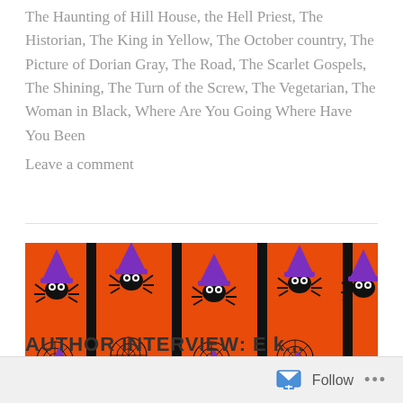The Haunting of Hill House, the Hell Priest, The Historian, The King in Yellow, The October country, The Picture of Dorian Gray, The Road, The Scarlet Gospels, The Shining, The Turn of the Screw, The Vegetarian, The Woman in Black, Where Are You Going Where Have You Been
Leave a comment
[Figure (illustration): A repeating Halloween pattern on an orange background featuring cartoon spiders wearing purple witch hats, with spider webs, on black vertical stripes.]
AUTHOR INTERVIEW: E k...
Follow ...